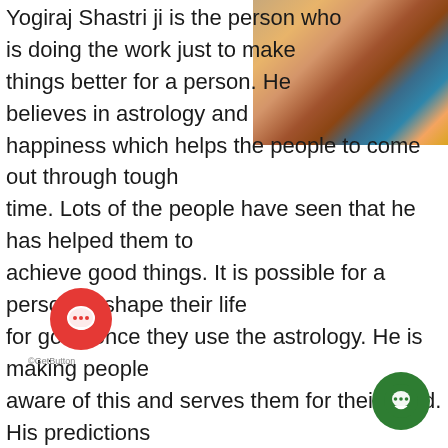[Figure (photo): Photo of a Hindu deity (Krishna) idol decorated with flowers and colorful garlands, partially visible in the top-right corner of the page.]
Yogiraj Shastri ji is the person who is doing the work just to make things better for a person. He believes in astrology and happiness which helps the people to come out through tough time. Lots of the people have seen that he has helped them to achieve good things. It is possible for a person to shape their life for good once they use the astrology. He is making people aware of this and serves them for their good. His predictions usually come true and many historic events just happened as he has predicted about this. It was not that easy to make a career in astrology but he got support from his parents and he also learns many things from them. Yogiraj Shastri ji is much aware of using astrology for the good. Even he always prefers to use prayers for bringing people out from the troubles. People do believe in astrology and the best thing there is no constraints on